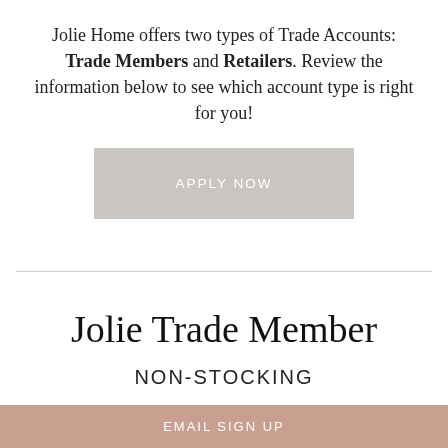Jolie Home offers two types of Trade Accounts: Trade Members and Retailers. Review the information below to see which account type is right for you!
[Figure (other): Gray 'APPLY NOW' button]
Jolie Trade Member
NON-STOCKING
EMAIL SIGN UP